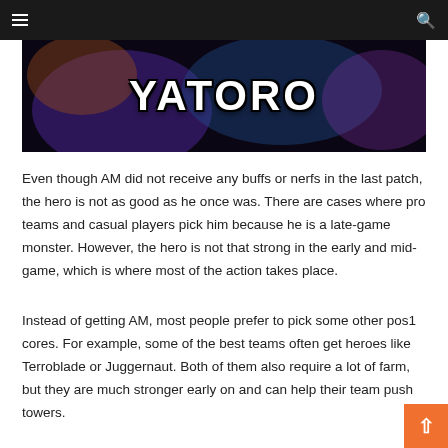Navigation bar with hamburger menu and search icon
[Figure (illustration): Dark fantasy game artwork banner with the text YATORO in large white bold letters, featuring purple and blue magical lighting effects]
Even though AM did not receive any buffs or nerfs in the last patch, the hero is not as good as he once was. There are cases where pro teams and casual players pick him because he is a late-game monster. However, the hero is not that strong in the early and mid-game, which is where most of the action takes place.
Instead of getting AM, most people prefer to pick some other pos1 cores. For example, some of the best teams often get heroes like Terroblade or Juggernaut. Both of them also require a lot of farm, but they are much stronger early on and can help their team push towers.